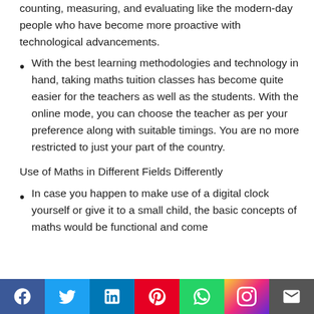counting, measuring, and evaluating like the modern-day people who have become more proactive with technological advancements.
With the best learning methodologies and technology in hand, taking maths tuition classes has become quite easier for the teachers as well as the students. With the online mode, you can choose the teacher as per your preference along with suitable timings. You are no more restricted to just your part of the country.
Use of Maths in Different Fields Differently
In case you happen to make use of a digital clock yourself or give it to a small child, the basic concepts of maths would be functional and come